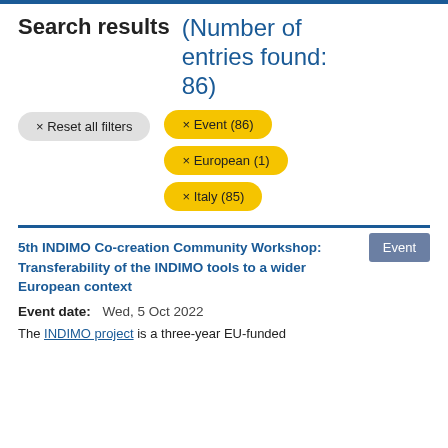Search results (Number of entries found: 86)
× Reset all filters
× Event (86)
× European (1)
× Italy (85)
5th INDIMO Co-creation Community Workshop: Transferability of the INDIMO tools to a wider European context
Event
Event date: Wed, 5 Oct 2022
The INDIMO project is a three-year EU-funded